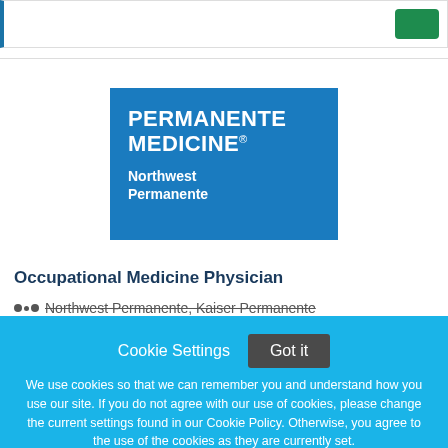[Figure (logo): Permanente Medicine - Northwest Permanente logo on blue background]
Occupational Medicine Physician
Northwest Permanente, Kaiser Permanente
Cookie Settings   Got it
We use cookies so that we can remember you and understand how you use our site. If you do not agree with our use of cookies, please change the current settings found in our Cookie Policy. Otherwise, you agree to the use of the cookies as they are currently set.